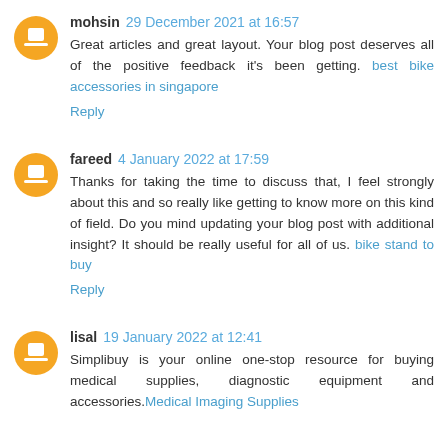mohsin 29 December 2021 at 16:57
Great articles and great layout. Your blog post deserves all of the positive feedback it's been getting. best bike accessories in singapore
Reply
fareed 4 January 2022 at 17:59
Thanks for taking the time to discuss that, I feel strongly about this and so really like getting to know more on this kind of field. Do you mind updating your blog post with additional insight? It should be really useful for all of us. bike stand to buy
Reply
lisal 19 January 2022 at 12:41
Simplibuy is your online one-stop resource for buying medical supplies, diagnostic equipment and accessories. Medical Imaging Supplies